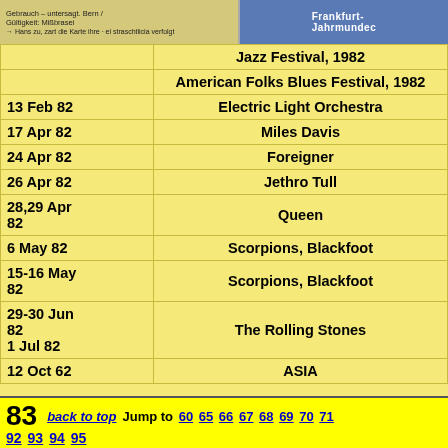[Figure (photo): Top banner image with two sections: left showing German text about card usage rules, right showing a blue Frankfurt-related image]
| Date | Event/Artist |
| --- | --- |
|  | Jazz Festival, 1982 |
|  | American Folks Blues Festival, 1982 |
| 13 Feb 82 | Electric Light Orchestra |
| 17 Apr 82 | Miles Davis |
| 24 Apr 82 | Foreigner |
| 26 Apr 82 | Jethro Tull |
| 28,29 Apr 82 | Queen |
| 6 May 82 | Scorpions, Blackfoot |
| 15-16 May 82 | Scorpions, Blackfoot |
| 29-30 Jun 82
1 Jul 82 | The Rolling Stones |
| 12 Oct 62 | ASIA |
83   back to top   Jump to 60 65 66 67 68 69 70 71   92 93 94 95